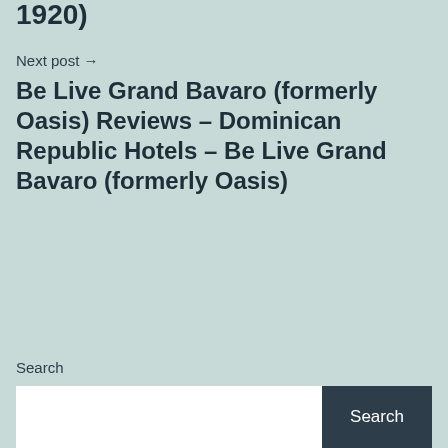1920)
Next post →
Be Live Grand Bavaro (formerly Oasis) Reviews – Dominican Republic Hotels – Be Live Grand Bavaro (formerly Oasis)
Search